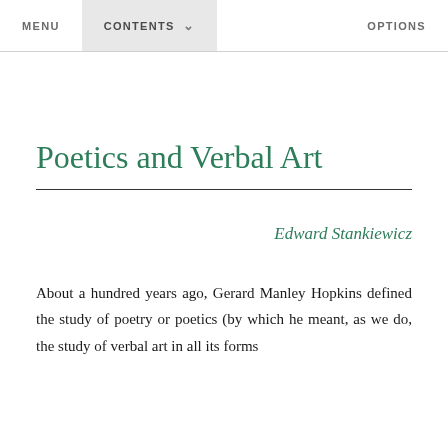MENU   CONTENTS   OPTIONS
Poetics and Verbal Art
Edward Stankiewicz
About a hundred years ago, Gerard Manley Hopkins defined the study of poetry or poetics (by which he meant, as we do, the study of verbal art in all its forms